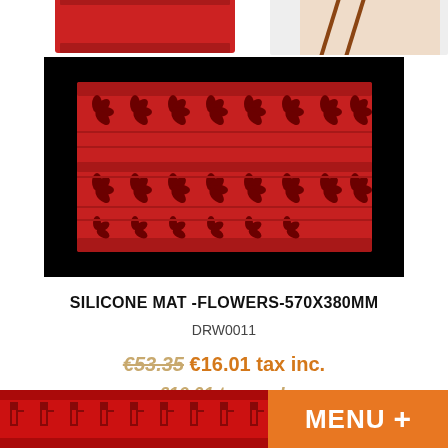[Figure (photo): Top partial view of red silicone mats with decorative patterns on white background]
[Figure (photo): Close-up of red silicone mat with flower/pinwheel cutout pattern rows on black background]
SILICONE MAT -FLOWERS-570X380MM
DRW0011
€53.35 €16.01 tax inc. €16.01 tax excl.
[Figure (photo): Bottom partial view of red silicone mat with Greek key border pattern]
MENU +